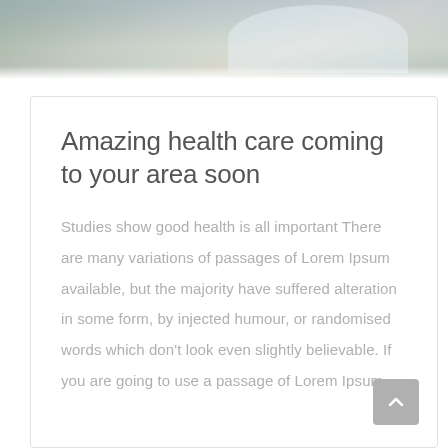[Figure (photo): Partial photo of a child or person at top of page, showing hands and clothing in muted tones]
Amazing health care coming to your area soon
Studies show good health is all important There are many variations of passages of Lorem Ipsum available, but the majority have suffered alteration in some form, by injected humour, or randomised words which don't look even slightly believable. If you are going to use a passage of Lorem Ipsum,